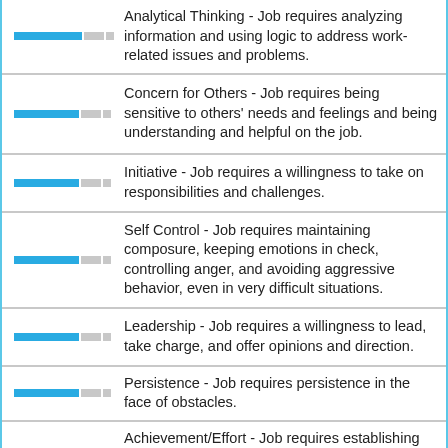Analytical Thinking - Job requires analyzing information and using logic to address work-related issues and problems.
Concern for Others - Job requires being sensitive to others' needs and feelings and being understanding and helpful on the job.
Initiative - Job requires a willingness to take on responsibilities and challenges.
Self Control - Job requires maintaining composure, keeping emotions in check, controlling anger, and avoiding aggressive behavior, even in very difficult situations.
Leadership - Job requires a willingness to lead, take charge, and offer opinions and direction.
Persistence - Job requires persistence in the face of obstacles.
Achievement/Effort - Job requires establishing and maintaining personally challenging